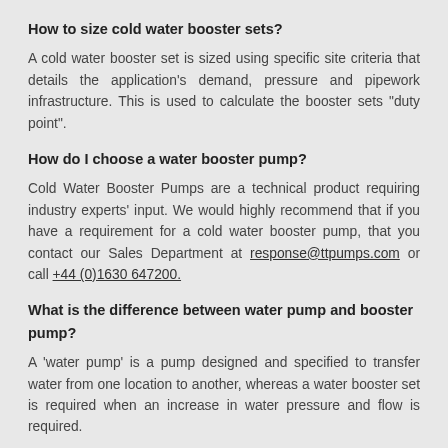How to size cold water booster sets?
A cold water booster set is sized using specific site criteria that details the application's demand, pressure and pipework infrastructure. This is used to calculate the booster sets "duty point".
How do I choose a water booster pump?
Cold Water Booster Pumps are a technical product requiring industry experts' input. We would highly recommend that if you have a requirement for a cold water booster pump, that you contact our Sales Department at response@ttpumps.com or call +44 (0)1630 647200.
What is the difference between water pump and booster pump?
A 'water pump' is a pump designed and specified to transfer water from one location to another, whereas a water booster set is required when an increase in water pressure and flow is required.